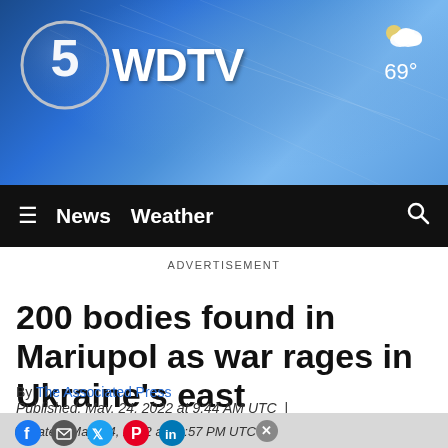[Figure (logo): 5 WDTV News logo with circular 5 emblem on blue gradient background with weather widget showing 69 degrees]
≡  News  Weather  🔍
ADVERTISEMENT
200 bodies found in Mariupol as war rages in Ukraine's east
By The Associated Press
Published: May. 24, 2022 at 9:44 AM UTC  |
Updated: May. 24, 2022 at 10:57 PM UTC